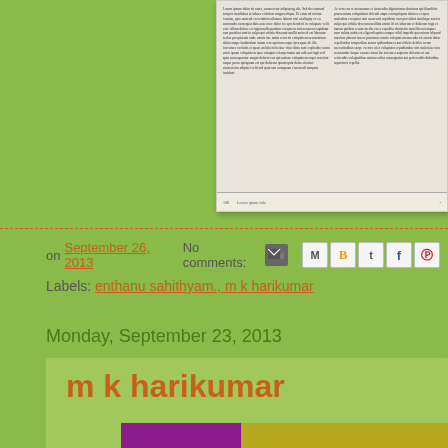[Figure (photo): Scanned book pages showing Malayalam text in two columns with page number 108 at bottom]
on September 26, 2013   No comments:
[Figure (other): Email and social sharing icons: email forward, Gmail, Blogger, Twitter, Facebook, Pinterest]
Labels: enthanu sahithyam., m k harikumar
Monday, September 23, 2013
m k harikumar
[Figure (photo): Book cover with purple, yellow-green sections and a wooden curved surface, partially cropped]